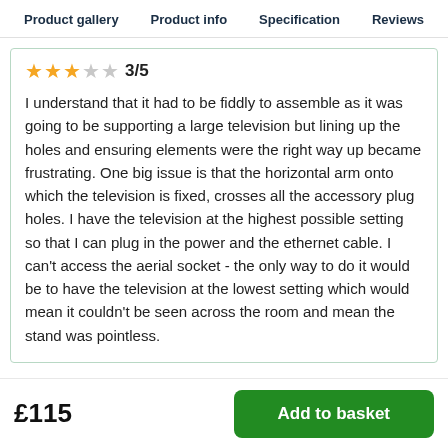Product gallery   Product info   Specification   Reviews
3/5
I understand that it had to be fiddly to assemble as it was going to be supporting a large television but lining up the holes and ensuring elements were the right way up became frustrating. One big issue is that the horizontal arm onto which the television is fixed, crosses all the accessory plug holes. I have the television at the highest possible setting so that I can plug in the power and the ethernet cable. I can't access the aerial socket - the only way to do it would be to have the television at the lowest setting which would mean it couldn't be seen across the room and mean the stand was pointless.
£115
Add to basket